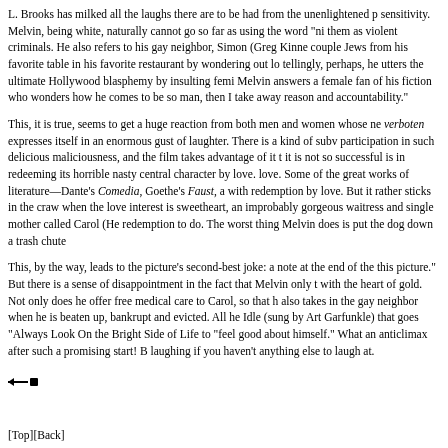L. Brooks has milked all the laughs there are to be had from the unenlightened p sensitivity. Melvin, being white, naturally cannot go so far as using the word "ni them as violent criminals. He also refers to his gay neighbor, Simon (Greg Kinne couple Jews from his favorite table in his favorite restaurant by wondering out lo tellingly, perhaps, he utters the ultimate Hollywood blasphemy by insulting femi Melvin answers a female fan of his fiction who wonders how he comes to be so man, then I take away reason and accountability."
This, it is true, seems to get a huge reaction from both men and women whose ne verboten expresses itself in an enormous gust of laughter. There is a kind of subv participation in such delicious maliciousness, and the film takes advantage of it t it is not so successful is in redeeming its horrible nasty central character by love. love. Some of the great works of literature—Dante's Comedia, Goethe's Faust, a with redemption by love. But it rather sticks in the craw when the love interest is sweetheart, an improbably gorgeous waitress and single mother called Carol (He redemption to do. The worst thing Melvin does is put the dog down a trash chute
This, by the way, leads to the picture's second-best joke: a note at the end of the this picture." But there is a sense of disappointment in the fact that Melvin only t with the heart of gold. Not only does he offer free medical care to Carol, so that h also takes in the gay neighbor when he is beaten up, bankrupt and evicted. All he Idle (sung by Art Garfunkle) that goes "Always Look On the Bright Side of Life to "feel good about himself." What an anticlimax after such a promising start! B laughing if you haven't anything else to laugh at.
[Figure (other): Arrow/navigation icon]
[Top][Back]